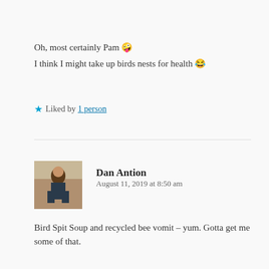Oh, most certainly Pam 😜
I think I might take up birds nests for health 😂
★ Liked by 1 person
Dan Antion
August 11, 2019 at 8:50 am
Bird Spit Soup and recycled bee vomit – yum. Gotta get me some of that.
★ Liked by 2 people
Reply ↓